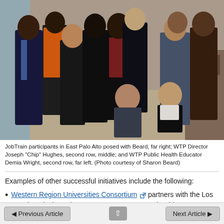[Figure (photo): Group photo of JobTrain participants and staff in East Palo Alto, posing indoors on a tiled floor. The group includes approximately 15 people, some wearing work overalls and high-visibility vests.]
JobTrain participants in East Palo Alto posed with Beard, far right; WTP Director Joseph "Chip" Hughes, second row, middle; and WTP Public Health Educator Demia Wright, second row, far left. (Photo courtesy of Sharon Beard)
Examples of other successful initiatives include the following:
Western Region Universities Consortium partners with the Los Angeles Black Worker Center on a pre-apprenticeship program that helps trainees exc...